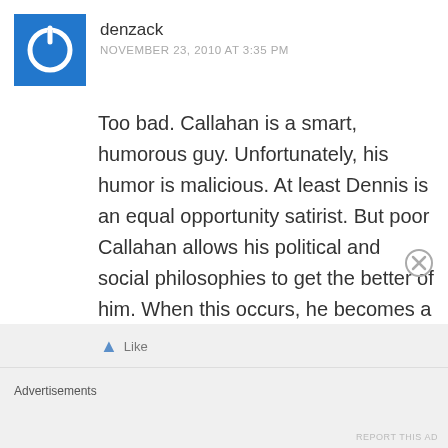[Figure (illustration): Blue square avatar icon with white power button symbol]
denzack
NOVEMBER 23, 2010 AT 3:35 PM
Too bad. Callahan is a smart, humorous guy. Unfortunately, his humor is malicious. At least Dennis is an equal opportunity satirist. But poor Callahan allows his political and social philosophies to get the better of him. When this occurs, he becomes a cross between Rev. Falwell and Don Rickles.
Advertisements